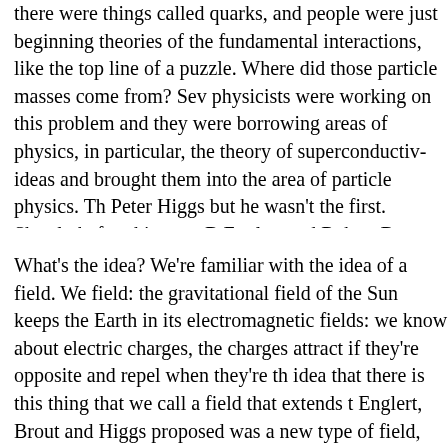there were things called quarks, and people were just beginning theories of the fundamental interactions, like the top line of a puzzle. Where did those particle masses come from? Several physicists were working on this problem and they were borrowing areas of physics, in particular, the theory of superconductivity ideas and brought them into the area of particle physics. The Peter Higgs but he wasn't the first. Shortly before him two B Englert and Robert Brout, proposed a very similar idea and came along afterwards.
What's the idea? We're familiar with the idea of a field. We field: the gravitational field of the Sun keeps the Earth in its electromagnetic fields: we know about electric charges, the charges attract if they're opposite and repel when they're th idea that there is this thing that we call a field that extends t Englert, Brout and Higgs proposed was a new type of field, shirt, which was different from the gravitational and electro constant throughout all the space, it's the same in all directi